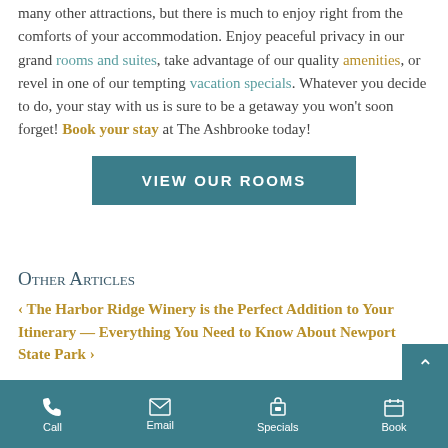many other attractions, but there is much to enjoy right from the comforts of your accommodation. Enjoy peaceful privacy in our grand rooms and suites, take advantage of our quality amenities, or revel in one of our tempting vacation specials. Whatever you decide to do, your stay with us is sure to be a getaway you won't soon forget! Book your stay at The Ashbrooke today!
[Figure (other): Teal button with white uppercase text: VIEW OUR ROOMS]
Other Articles
‹ The Harbor Ridge Winery is the Perfect Addition to Your Itinerary — Everything You Need to Know About Newport State Park ›
Call  Email  Specials  Book